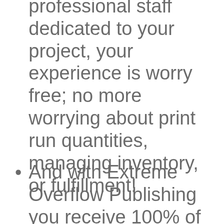professional staff dedicated to your project, your experience is worry free; no more worrying about print run quantities, managing inventory, or fulfillment!
And with Extreme Overflow Publishing you receive 100% of the royalties and